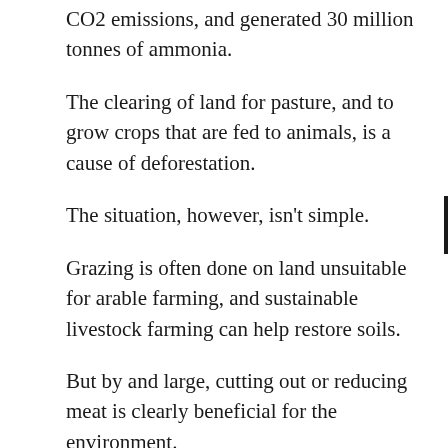CO2 emissions, and generated 30 million tonnes of ammonia.
The clearing of land for pasture, and to grow crops that are fed to animals, is a cause of deforestation.
The situation, however, isn't simple.
Grazing is often done on land unsuitable for arable farming, and sustainable livestock farming can help restore soils.
But by and large, cutting out or reducing meat is clearly beneficial for the environment.
Latest News